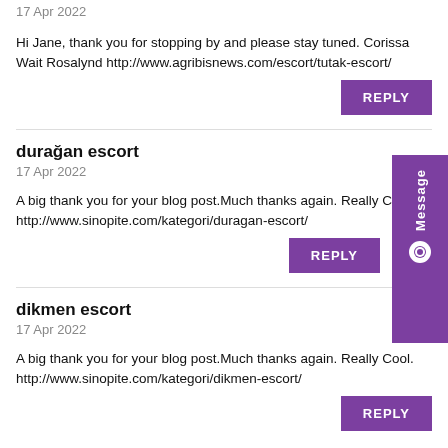17 Apr 2022
Hi Jane, thank you for stopping by and please stay tuned. Corissa Wait Rosalynd http://www.agribisnews.com/escort/tutak-escort/
REPLY
durağan escort
17 Apr 2022
A big thank you for your blog post.Much thanks again. Really C... http://www.sinopite.com/kategori/duragan-escort/
REPLY
dikmen escort
17 Apr 2022
A big thank you for your blog post.Much thanks again. Really Cool. http://www.sinopite.com/kategori/dikmen-escort/
REPLY